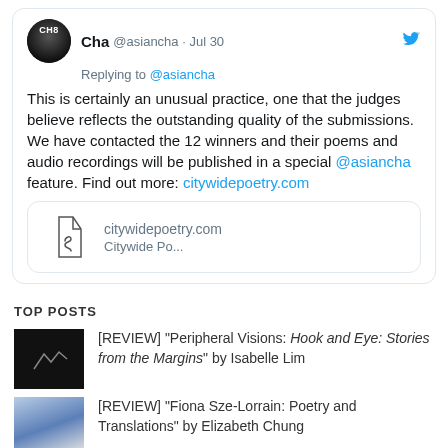[Figure (screenshot): Tweet from user Cha @asiancha replying to @asiancha about poetry contest winners and citywidepoetry.com link preview]
TOP POSTS
[REVIEW] "Peripheral Visions: Hook and Eye: Stories from the Margins" by Isabelle Lim
[REVIEW] "Fiona Sze-Lorrain: Poetry and Translations" by Elizabeth Chung
[CALL FOR SUBMISSIONS] The Auditory Cortex